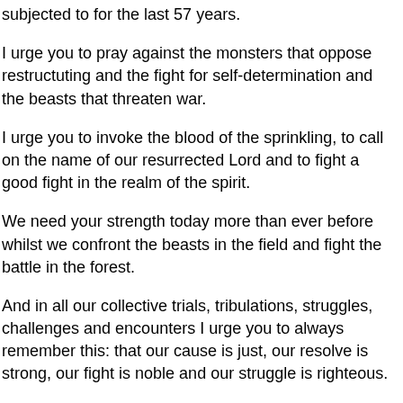subjected to for the last 57 years.
I urge you to pray against the monsters that oppose restructuting and the fight for self-determination and the beasts that threaten war.
I urge you to invoke the blood of the sprinkling, to call on the name of our resurrected Lord and to fight a good fight in the realm of the spirit.
We need your strength today more than ever before whilst we confront the beasts in the field and fight the battle in the forest.
And in all our collective trials, tribulations, struggles, challenges and encounters I urge you to always remember this: that our cause is just, our resolve is strong, our fight is noble and our struggle is righteous.
I urge you to remember that no matter how hard the battle and no